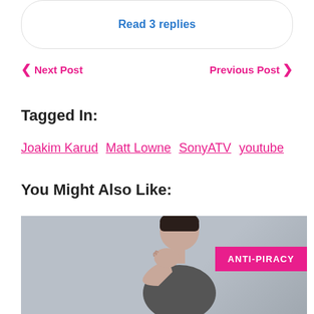Read 3 replies
< Next Post    Previous Post >
Tagged In:
Joakim Karud  Matt Lowne  SonyATV  youtube
You Might Also Like:
[Figure (photo): Person covering face with hand, gray background, with ANTI-PIRACY badge overlay]